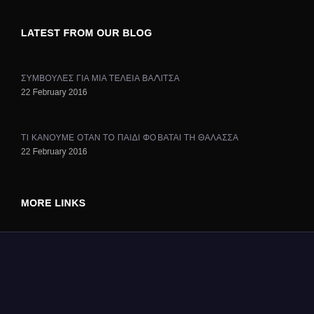LATEST FROM OUR BLOG
ΣΥΜΒΟΥΛΕΣ ΓΙΑ ΜΙΑ ΤΕΛΕΙΑ ΒΑΛΙΤΣΑ
22 February 2016
ΤΙ ΚΑΝΟΥΜΕ ΟΤΑΝ ΤΟ ΠΑΙΔΙ ΦΟΒΑΤΑΙ ΤΗ ΘΑΛΑΣΣΑ
22 February 2016
MORE LINKS
This website uses cookies to provide you with the best browsing experience.
Find out more or adjust your settings.